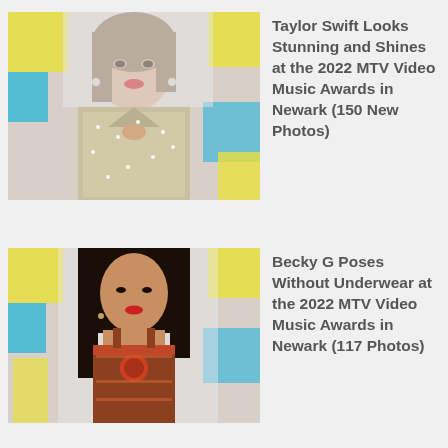[Figure (photo): Taylor Swift in a sparkly crystal halter outfit at the 2022 MTV VMAs red carpet, colorful geometric background]
Taylor Swift Looks Stunning and Shines at the 2022 MTV Video Music Awards in Newark (150 New Photos)
[Figure (photo): Becky G in a patterned dress at the 2022 MTV VMAs, colorful geometric background]
Becky G Poses Without Underwear at the 2022 MTV Video Music Awards in Newark (117 Photos)